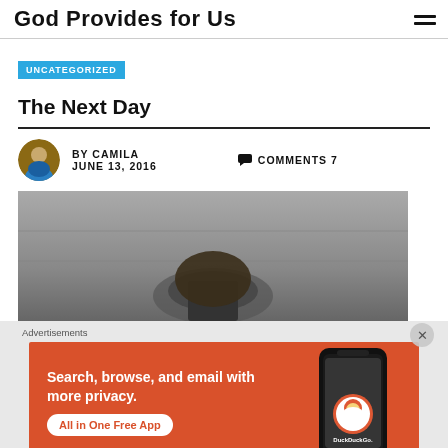God Provides for Us
UNCATEGORIZED
The Next Day
BY CAMILA  JUNE 13, 2016  COMMENTS 7
[Figure (photo): Black and white photo, partially visible, showing a textured surface and a dark object]
Advertisements
[Figure (infographic): DuckDuckGo advertisement banner on orange background with text: Search, browse, and email with more privacy. All in One Free App. Shows a phone with DuckDuckGo logo.]